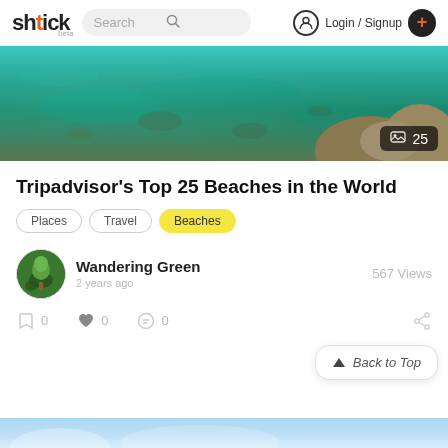shtick beta — Search — Login / Signup
[Figure (photo): Aerial/overhead view of turquoise shallow ocean water with rocks and stones visible beneath the surface, rocky shoreline on the right side. Image count badge showing 25 in bottom right corner.]
Tripadvisor's Top 25 Beaches in the World
Places
Travel
Beaches
Wandering Green
2 years ago
567 Views
0  0  0